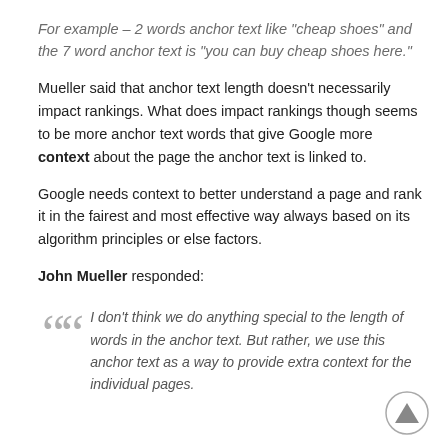For example – 2 words anchor text like "cheap shoes" and the 7 word anchor text is "you can buy cheap shoes here."
Mueller said that anchor text length doesn't necessarily impact rankings. What does impact rankings though seems to be more anchor text words that give Google more context about the page the anchor text is linked to.
Google needs context to better understand a page and rank it in the fairest and most effective way always based on its algorithm principles or else factors.
John Mueller responded:
I don't think we do anything special to the length of words in the anchor text. But rather, we use this anchor text as a way to provide extra context for the individual pages.